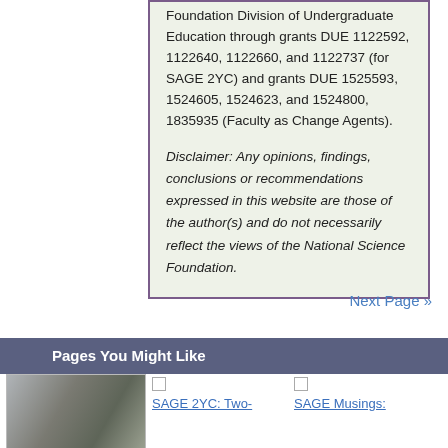Foundation Division of Undergraduate Education through grants DUE 1122592, 1122640, 1122660, and 1122737 (for SAGE 2YC) and grants DUE 1525593, 1524605, 1524623, and 1524800, 1835935 (Faculty as Change Agents).
Disclaimer: Any opinions, findings, conclusions or recommendations expressed in this website are those of the author(s) and do not necessarily reflect the views of the National Science Foundation.
Next Page »
Pages You Might Like
[Figure (photo): Thumbnail photo of a person]
SAGE 2YC: Two-
SAGE Musings: